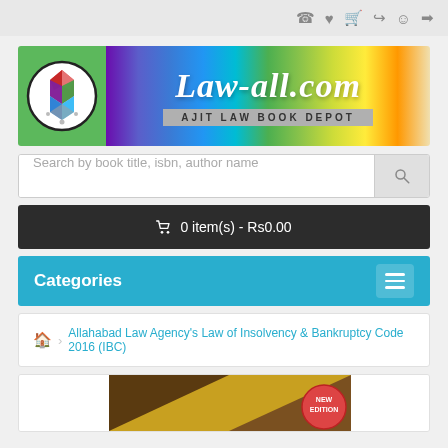Top navigation bar with icons: phone, heart, cart, share, user, login
[Figure (logo): Law-all.com banner with colorful background, circular logo with geometric shapes on left, site name 'Law-all.com' in italic white text, subtitle 'AJIT LAW BOOK DEPOT' in grey bar]
Search by book title, isbn, author name
🛒 0 item(s) - Rs0.00
Categories
🏠 Allahabad Law Agency's Law of Insolvency & Bankruptcy Code 2016 (IBC)
[Figure (photo): Book cover image partially visible at bottom, showing 'NEW EDITION' badge on golden/brown background]